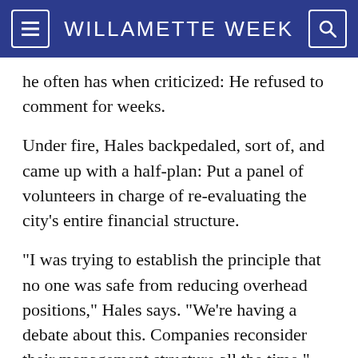WILLAMETTE WEEK
he often has when criticized: He refused to comment for weeks.
Under fire, Hales backpedaled, sort of, and came up with a half-plan: Put a panel of volunteers in charge of re-evaluating the city's entire financial structure.
"I was trying to establish the principle that no one was safe from reducing overhead positions," Hales says. "We're having a debate about this. Companies reconsider their management structure all the time."